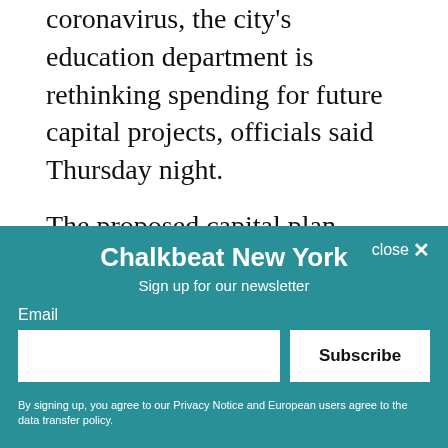coronavirus, the city's education department is rethinking spending for future capital projects, officials said Thursday night.
The proposed capital plan, developed before the pandemic upended life in New York City, maps out nearly $19 billion in spending through fiscal year 2024. It would include spending on a litany of projects, including building capacity for 57,000 more students to address overcrowding, and making school buildings more accessible for students with disabilities.
[Figure (other): Newsletter signup modal overlay with teal background. Title: 'Chalkbeat New York'. Subtitle: 'Sign up for our newsletter'. Email input field and Subscribe button. Footer: 'By signing up, you agree to our Privacy Notice and European users agree to the data transfer policy.' Close button in top right.]